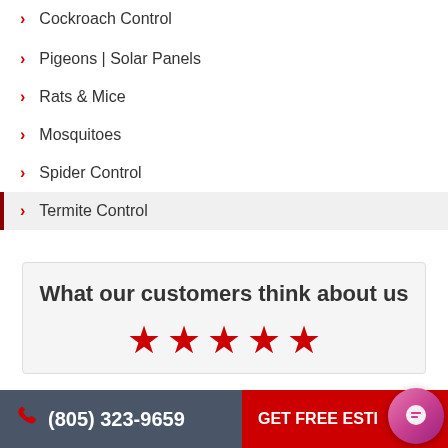Cockroach Control
Pigeons | Solar Panels
Rats & Mice
Mosquitoes
Spider Control
Termite Control
What our customers think about us
[Figure (other): Five red stars rating]
(805) 323-9659
GET FREE ESTI...